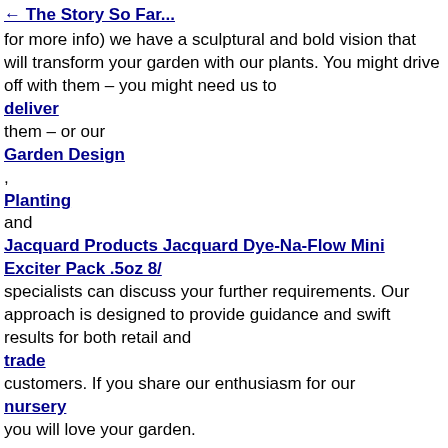← The Story So Far...
for more info) we have a sculptural and bold vision that will transform your garden with our plants. You might drive off with them – you might need us to
deliver
them – or our
Garden Design
,
Planting
and
Jacquard Products Jacquard Dye-Na-Flow Mini Exciter Pack .5oz 8/
specialists can discuss your further requirements. Our approach is designed to provide guidance and swift results for both retail and
trade
customers. If you share our enthusiasm for our
nursery
you will love your garden.
Send an enquiry
Follow us on Instagram